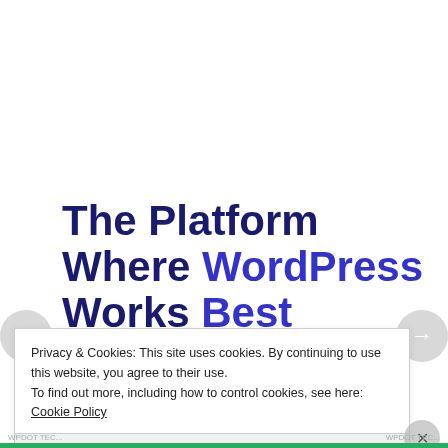The Platform Where WordPress Works Best
[Figure (screenshot): SEE PRICING button (blue, partially visible)]
Privacy & Cookies: This site uses cookies. By continuing to use this website, you agree to their use. To find out more, including how to control cookies, see here: Cookie Policy
Close and accept